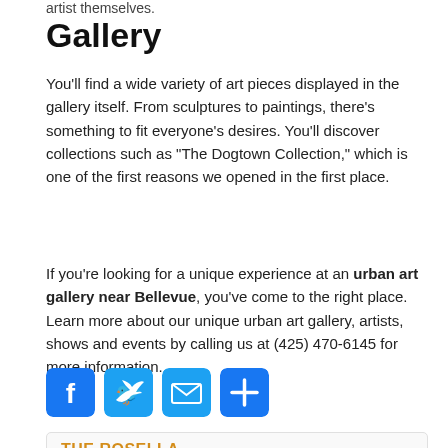artist themselves.
Gallery
You’ll find a wide variety of art pieces displayed in the gallery itself. From sculptures to paintings, there’s something to fit everyone’s desires. You’ll discover collections such as “The Dogtown Collection,” which is one of the first reasons we opened in the first place.
If you’re looking for a unique experience at an urban art gallery near Bellevue, you’ve come to the right place. Learn more about our unique urban art gallery, artists, shows and events by calling us at (425) 470-6145 for more information.
[Figure (infographic): Four social sharing buttons: Facebook (blue), Twitter (light blue), Email (light blue envelope), Share/plus (blue)]
THE ROSELLA